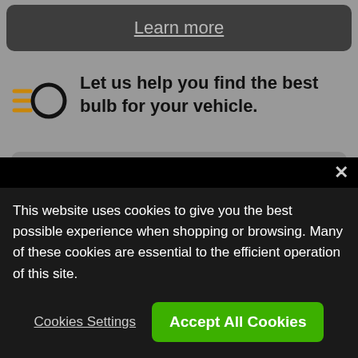Learn more
Let us help you find the best bulb for your vehicle.
Find my bulb
2 results
This website uses cookies to give you the best possible experience when shopping or browsing. Many of these cookies are essential to the efficient operation of this site.
Cookies Settings
Accept All Cookies